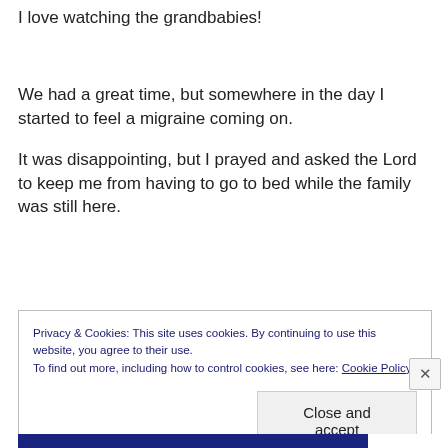I love watching the grandbabies!
We had a great time, but somewhere in the day I started to feel a migraine coming on.
It was disappointing, but I prayed and asked the Lord to keep me from having to go to bed while the family was still here.
Privacy & Cookies: This site uses cookies. By continuing to use this website, you agree to their use.
To find out more, including how to control cookies, see here: Cookie Policy